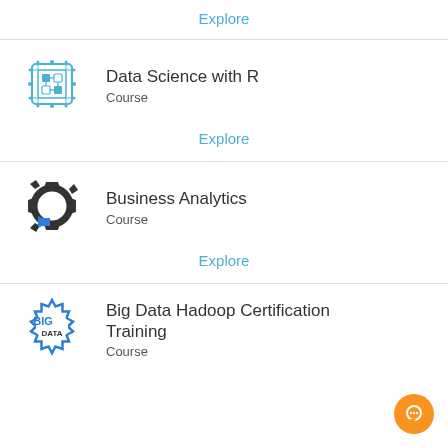Explore
[Figure (logo): Data Science with R course icon - circuit board style logo in blue]
Data Science with R
Course
Explore
[Figure (logo): Business Analytics course icon - gear with blue arrow]
Business Analytics
Course
Explore
[Figure (logo): Big Data Hadoop Certification Training icon - gear with BIG DATA text in blue]
Big Data Hadoop Certification Training
Course